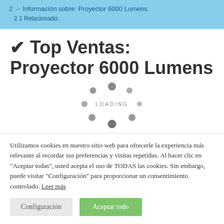2 → Información sobre: Proyector 6000 Lumens
2.1 Relacionado:
✔ Top Ventas: Proyector 6000 Lumens
[Figure (other): Animated loading spinner with dots arranged in a circle and the text LOADING in the center]
Utilizamos cookies en nuestro sitio web para ofrecerle la experiencia más relevante al recordar sus preferencias y visitas repetidas. Al hacer clic en "Aceptar todas", usted acepta el uso de TODAS las cookies. Sin embargo, puede visitar "Configuración" para proporcionar un consentimiento controlado. Leer más
Configuración
Aceptar todo